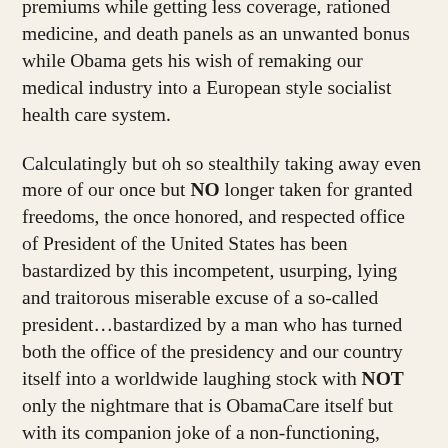premiums while getting less coverage, rationed medicine, and death panels as an unwanted bonus while Obama gets his wish of remaking our medical industry into a European style socialist health care system.
Calculatingly but oh so stealthily taking away even more of our once but NO longer taken for granted freedoms, the once honored, and respected office of President of the United States has been bastardized by this incompetent, usurping, lying and traitorous miserable excuse of a so-called president…bastardized by a man who has turned both the office of the presidency and our country itself into a worldwide laughing stock with NOT only the nightmare that is ObamaCare itself but with its companion joke of a non-functioning, seems to be unfixable in its current form, website...a website NO one will take the blame for.
But if we're lucky, all Obama's LIES maliciously done for political expediency alone...all the ObamaCare website screw-ups coupled with the sticker shock to 'We the People's' pocketbooks...just might do what the birthers, the previous scandals, and Benghazi could NOT do…and that is call Obama to task as public support for Obama's so-called signature piece of legislation is falling by